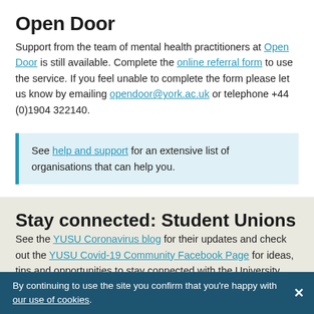Open Door
Support from the team of mental health practitioners at Open Door is still available. Complete the online referral form to use the service. If you feel unable to complete the form please let us know by emailing opendoor@york.ac.uk or telephone +44 (0)1904 322140.
See help and support for an extensive list of organisations that can help you.
Stay connected: Student Unions
See the YUSU Coronavirus blog for their updates and check out the YUSU Covid-19 Community Facebook Page for ideas, tips and opportunities to stay connected with the University community.
By continuing to use the site you confirm that you're happy with our use of cookies.